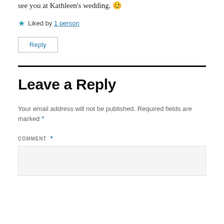see you at Kathleen's wedding. 😊
★ Liked by 1 person
Reply
Leave a Reply
Your email address will not be published. Required fields are marked *
COMMENT *